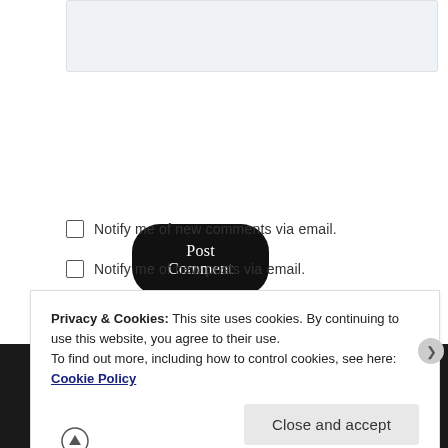[Figure (screenshot): Text input area / comment box (light gray)]
Post Comment
Notify me of new comments via email.
Notify me of new posts via email.
WE FEATURE YOUR WORK
Privacy & Cookies: This site uses cookies. By continuing to use this website, you agree to their use.
To find out more, including how to control cookies, see here: Cookie Policy
Close and accept